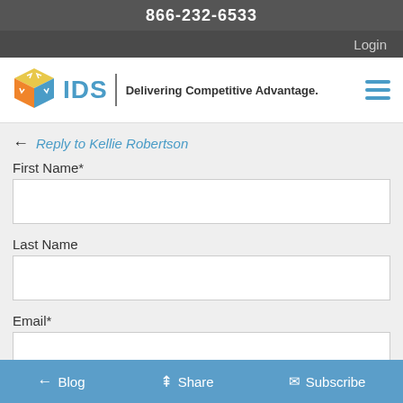866-232-6533
Login
[Figure (logo): IDS logo with cube icon and tagline 'Delivering Competitive Advantage.']
Reply to Kellie Robertson
First Name*
Last Name
Email*
Blog  Share  Subscribe